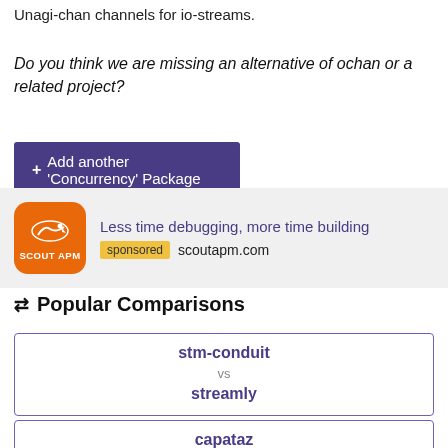Unagi-chan channels for io-streams.
Do you think we are missing an alternative of ochan or a related project?
+ Add another 'Concurrency' Package
[Figure (logo): Scout APM logo - orange rounded square with white dog icon and Scout APM text]
Less time debugging, more time building sponsored scoutapm.com
⇄ Popular Comparisons
| stm-conduit | vs | streamly |
| capataz |